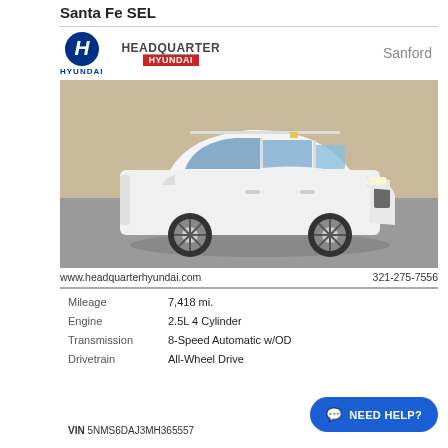Santa Fe SEL
[Figure (logo): Hyundai blue H logo with HYUNDAI text below]
[Figure (logo): Headquarter Hyundai logo with red banner]
Sanford
[Figure (photo): White Hyundai Santa Fe SEL SUV parked in a lot, 3/4 front view]
www.headquarterhyundai.com   321-275-7556
| Mileage | 7,418 mi. |
| Engine | 2.5L 4 Cylinder |
| Transmission | 8-Speed Automatic w/OD |
| Drivetrain | All-Wheel Drive |
VIN 5NMS6DAJ3MH365557